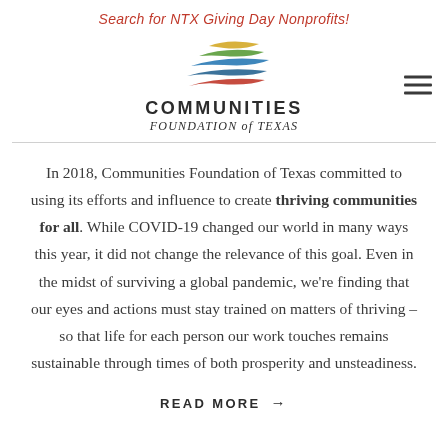Search for NTX Giving Day Nonprofits!
[Figure (logo): Communities Foundation of Texas logo with colorful swoosh/flag graphic in gold, green, blue, and red, with text 'COMMUNITIES FOUNDATION of TEXAS']
In 2018, Communities Foundation of Texas committed to using its efforts and influence to create thriving communities for all. While COVID-19 changed our world in many ways this year, it did not change the relevance of this goal. Even in the midst of surviving a global pandemic, we’re finding that our eyes and actions must stay trained on matters of thriving – so that life for each person our work touches remains sustainable through times of both prosperity and unsteadiness.
READ MORE →